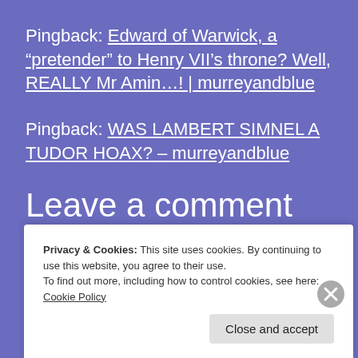Pingback: Edward of Warwick, a “pretender” to Henry VII’s throne? Well, REALLY Mr Amin…! | murreyandblue
Pingback: WAS LAMBERT SIMNEL A TUDOR HOAX? – murreyandblue
Leave a comment
Privacy & Cookies: This site uses cookies. By continuing to use this website, you agree to their use.
To find out more, including how to control cookies, see here: Cookie Policy